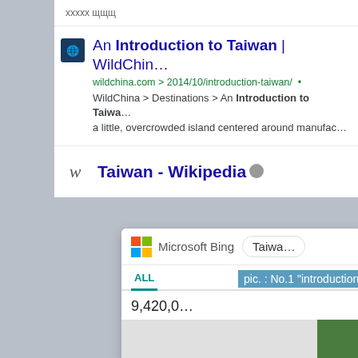[Figure (screenshot): Screenshot of Google search results for Taiwan showing WildChina result and Wikipedia result, overlaid with a Microsoft Bing search interface screenshot showing 9,420,0... results for Taiwan]
An Introduction to Taiwan | WildChin...
wildchina.com > 2014/10/introduction-taiwan/ •
WildChina > Destinations > An Introduction to Taiwa... a little, overcrowded island centered around manufac...
Taiwan - Wikipedia
pic. : No.1 "introduction to...
Microsoft Bing
Taiwa...
ALL
9,420,0...